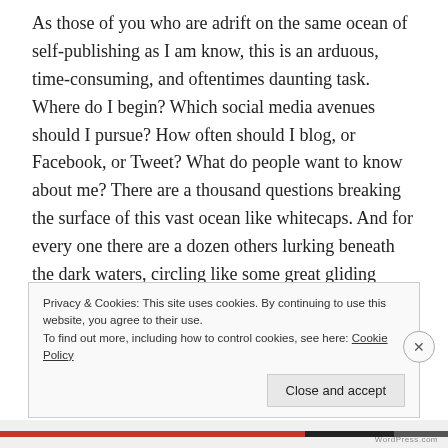As those of you who are adrift on the same ocean of self-publishing as I am know, this is an arduous, time-consuming, and oftentimes daunting task. Where do I begin? Which social media avenues should I pursue? How often should I blog, or Facebook, or Tweet? What do people want to know about me? There are a thousand questions breaking the surface of this vast ocean like whitecaps. And for every one there are a dozen others lurking beneath the dark waters, circling like some great gliding behemoth of the sea waiting for that first tantalizing drop of blood.
Privacy & Cookies: This site uses cookies. By continuing to use this website, you agree to their use.
To find out more, including how to control cookies, see here: Cookie Policy
Close and accept